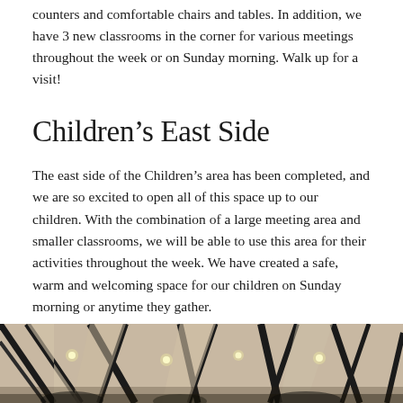counters and comfortable chairs and tables. In addition, we have 3 new classrooms in the corner for various meetings throughout the week or on Sunday morning. Walk up for a visit!
Children's East Side
The east side of the Children's area has been completed, and we are so excited to open all of this space up to our children. With the combination of a large meeting area and smaller classrooms, we will be able to use this area for their activities throughout the week. We have created a safe, warm and welcoming space for our children on Sunday morning or anytime they gather.
[Figure (photo): Interior photo showing a ceiling with structural beams and lighting, taken from below looking up.]